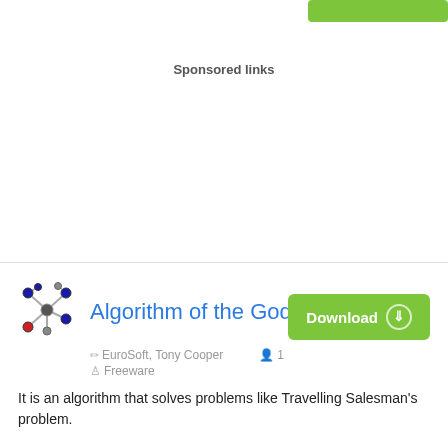[Figure (other): Green download button bar at top right]
Sponsored links
[Figure (illustration): Molecular structure icon for Algorithm of the Gods app]
Algorithm of the Gods 1.31
EuroSoft, Tony Cooper   1   Freeware
Download
It is an algorithm that solves problems like Travelling Salesman's problem.